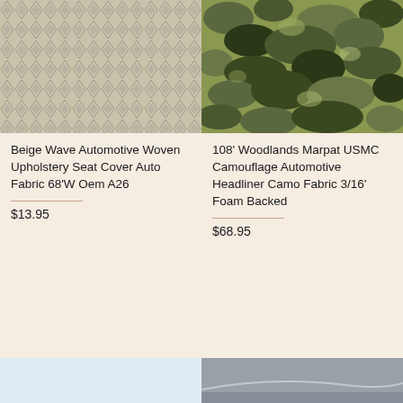[Figure (photo): Close-up of beige/cream woven automotive fabric with diamond wave pattern]
Beige Wave Automotive Woven Upholstery Seat Cover Auto Fabric 68'W Oem A26
$13.95
[Figure (photo): Woodlands Marpat USMC camouflage fabric with green and dark brown/black pattern]
108' Woodlands Marpat USMC Camouflage Automotive Headliner Camo Fabric 3/16' Foam Backed
$68.95
[Figure (photo): Partial view of light blue/white fabric at bottom left]
[Figure (photo): Partial view of gray fabric at bottom right]